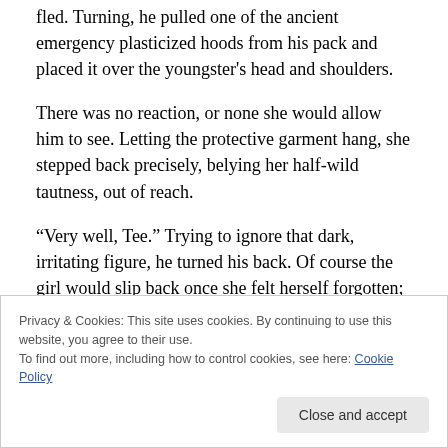fled. Turning, he pulled one of the ancient emergency plasticized hoods from his pack and placed it over the youngster's head and shoulders.
There was no reaction, or none she would allow him to see. Letting the protective garment hang, she stepped back precisely, belying her half-wild tautness, out of reach.
“Very well, Tee.” Trying to ignore that dark, irritating figure, he turned his back. Of course the girl would slip back once she felt herself forgotten; she always did. And she would stand there, staring fixedly, eyes huge in obsessed
Privacy & Cookies: This site uses cookies. By continuing to use this website, you agree to their use.
To find out more, including how to control cookies, see here: Cookie Policy